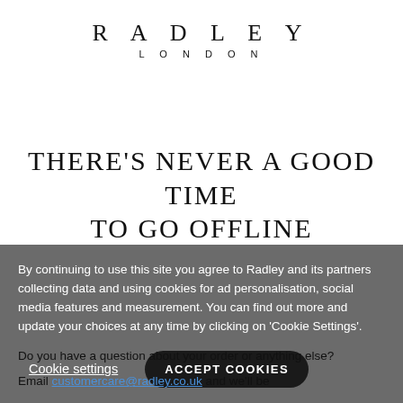[Figure (logo): Radley London brand logo with 'RADLEY' in large spaced serif letters and 'LONDON' in smaller spaced sans-serif letters below]
THERE'S NEVER A GOOD TIME TO GO OFFLINE
By continuing to use this site you agree to Radley and its partners collecting data and using cookies for ad personalisation, social media features and measurement. You can find out more and update your choices at any time by clicking on 'Cookie Settings'.
Cookie settings   ACCEPT COOKIES
Do you have a question about your order or anything else?
Email customercare@radley.co.uk and we'll be